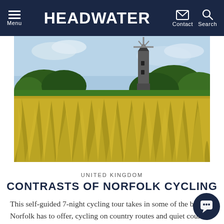Menu | HEADWATER | Contact Search
[Figure (photo): A golden grain field in the foreground with a traditional windmill and trees visible in the background under a partly cloudy sky in Norfolk, UK.]
UNITED KINGDOM
CONTRASTS OF NORFOLK CYCLING
This self-guided 7-night cycling tour takes in some of the best Norfolk has to offer, cycling on country routes and quiet country lanes between charming villages and to places of interest including